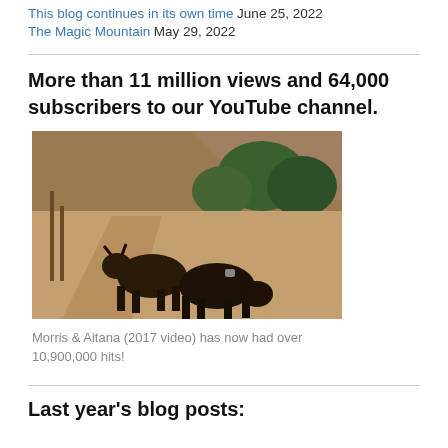This blog continues in its own time  June 25, 2022
The Magic Mountain  May 29, 2022
More than 11 million views and 64,000 subscribers to our YouTube channel.
[Figure (photo): Two dark-colored sheep or goats on a dry dirt path, with trees and rocky hillside in the background. Morris & Aitana (2017 video).]
Morris & Aitana (2017 video) has now had over 10,900,000 hits!
Last year's blog posts: